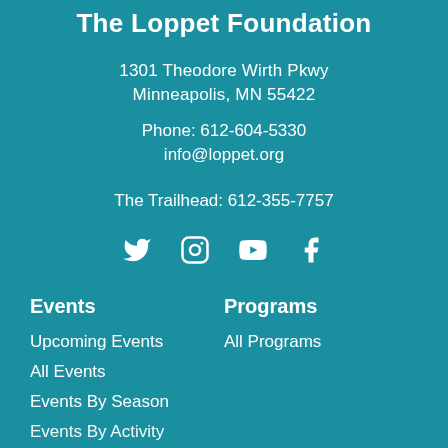The Loppet Foundation
1301 Theodore Wirth Pkwy
Minneapolis, MN 55422
Phone: 612-604-5330
info@loppet.org
The Trailhead: 612-355-7757
[Figure (other): Social media icons: Twitter, Instagram, YouTube, Facebook]
Events
Programs
Upcoming Events
All Programs
All Events
Events By Season
Events By Activity